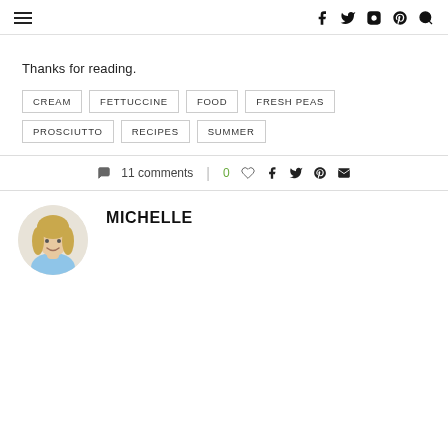Navigation and social icons header
Thanks for reading.
CREAM
FETTUCCINE
FOOD
FRESH PEAS
PROSCIUTTO
RECIPES
SUMMER
11 comments  0
[Figure (photo): Circular author photo of Michelle, a woman with blonde hair smiling]
MICHELLE